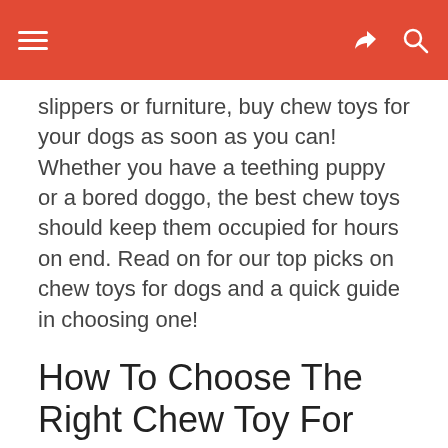slippers or furniture, buy chew toys for your dogs as soon as you can! Whether you have a teething puppy or a bored doggo, the best chew toys should keep them occupied for hours on end. Read on for our top picks on chew toys for dogs and a quick guide in choosing one!
How To Choose The Right Chew Toy For Your Dog